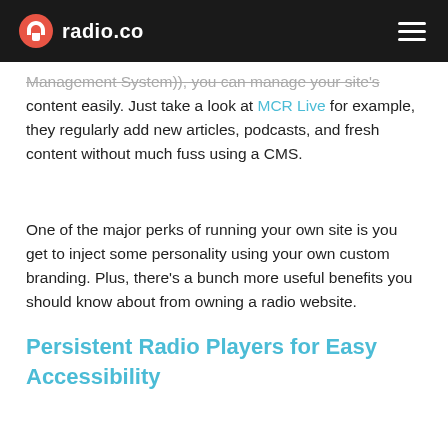radio.co
Management System)), you can manage your site's content easily. Just take a look at MCR Live for example, they regularly add new articles, podcasts, and fresh content without much fuss using a CMS.
One of the major perks of running your own site is you get to inject some personality using your own custom branding. Plus, there's a bunch more useful benefits you should know about from owning a radio website.
Persistent Radio Players for Easy Accessibility